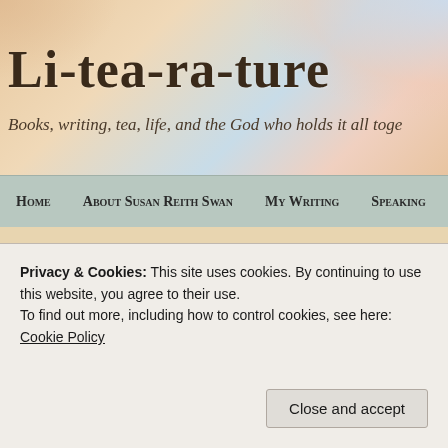[Figure (illustration): Blog header banner with decorative watercolor-style background in warm beige and pastel tones with floral/swirl motifs]
Li-tea-ra-ture
Books, writing, tea, life, and the God who holds it all toge
Home   About Susan Reith Swan   My Writing   Speaking
13 God Still Works Miracles–Part 3
AUG 2014
by writingcygnet   in Faith and Spirituality, My Healing and Miracles, Miracles, Prayer, Testimony   Tags
12 Comments
[Figure (photo): Photo showing what appears to be interior architectural elements, partially obscured]
Privacy & Cookies: This site uses cookies. By continuing to use this website, you agree to their use.
To find out more, including how to control cookies, see here: Cookie Policy
Close and accept